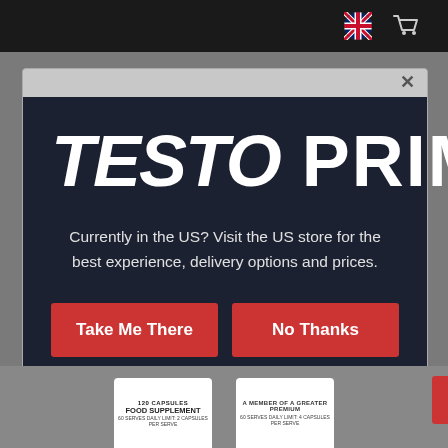[Figure (screenshot): Website modal popup for TestoPrime supplement brand. Dark navy modal with brand name TESTO PRIME in large white bold text, a message about visiting the US store, and two red buttons: Take Me There and No Thanks. Top bar is black with UK flag and cart icons. Bottom shows product bottles.]
TESTO PRIME
Currently in the US? Visit the US store for the best experience, delivery options and prices.
Take Me There
No Thanks